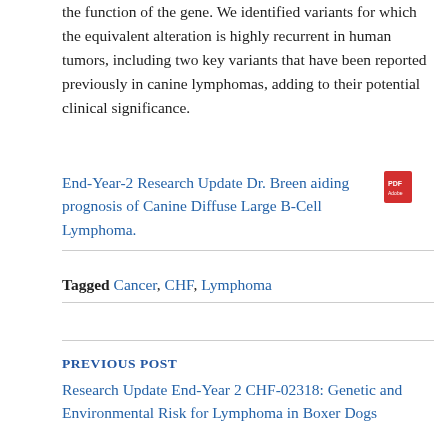the function of the gene. We identified variants for which the equivalent alteration is highly recurrent in human tumors, including two key variants that have been reported previously in canine lymphomas, adding to their potential clinical significance.
End-Year-2 Research Update Dr. Breen aiding prognosis of Canine Diffuse Large B-Cell Lymphoma.
Tagged Cancer, CHF, Lymphoma
PREVIOUS POST
Research Update End-Year 2 CHF-02318: Genetic and Environmental Risk for Lymphoma in Boxer Dogs